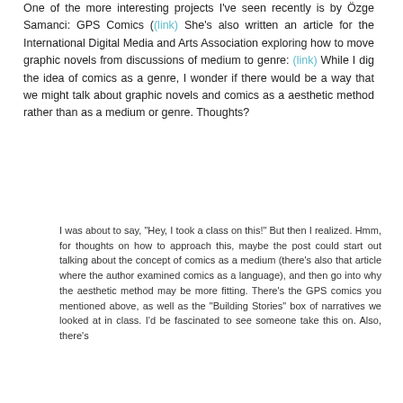One of the more interesting projects I've seen recently is by Özge Samanci: GPS Comics ((link) She's also written an article for the International Digital Media and Arts Association exploring how to move graphic novels from discussions of medium to genre: (link) While I dig the idea of comics as a genre, I wonder if there would be a way that we might talk about graphic novels and comics as a aesthetic method rather than as a medium or genre. Thoughts?
I was about to say, "Hey, I took a class on this!" But then I realized. Hmm, for thoughts on how to approach this, maybe the post could start out talking about the concept of comics as a medium (there's also that article where the author examined comics as a language), and then go into why the aesthetic method may be more fitting. There's the GPS comics you mentioned above, as well as the "Building Stories" box of narratives we looked at in class. I'd be fascinated to see someone take this on. Also, there's